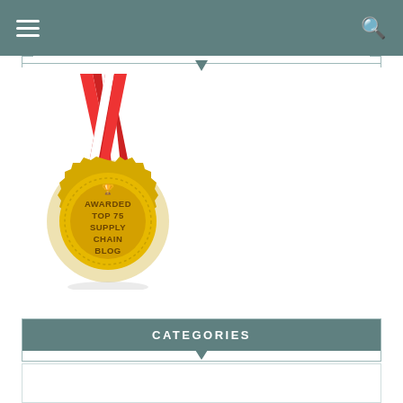Navigation bar with hamburger menu and search icon
[Figure (illustration): Gold medal with red ribbon awarded Top 75 Supply Chain Blog]
CATEGORIES